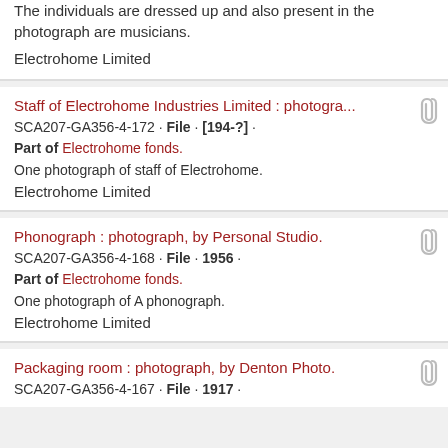The individuals are dressed up and also present in the photograph are musicians.
Electrohome Limited
Staff of Electrohome Industries Limited : photogra...
SCA207-GA356-4-172 · File · [194-?] ·
Part of Electrohome fonds.
One photograph of staff of Electrohome.
Electrohome Limited
Phonograph : photograph, by Personal Studio.
SCA207-GA356-4-168 · File · 1956 ·
Part of Electrohome fonds.
One photograph of A phonograph.
Electrohome Limited
Packaging room : photograph, by Denton Photo.
SCA207-GA356-4-167 · File · 1917 ·